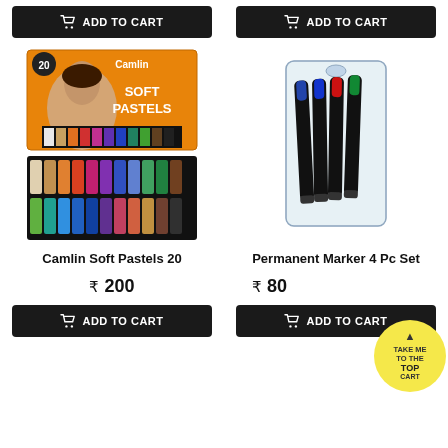[Figure (screenshot): Add to Cart button (top left) with shopping cart icon]
[Figure (screenshot): Add to Cart button (top right) with shopping cart icon]
[Figure (photo): Camlin Soft Pastels 20 product image showing box with girl portrait and colored chalk sticks]
[Figure (photo): Permanent Marker 4 Pc Set product image showing 4 markers in a plastic case]
Camlin Soft Pastels 20
Permanent Marker 4 Pc Set
₹ 200
₹ 80
[Figure (screenshot): Add to Cart button (bottom left) with shopping cart icon]
[Figure (screenshot): Add to Cart button (bottom right) with shopping cart icon]
[Figure (infographic): Yellow circle overlay with arrow up and text TAKE ME TO THE TOP CART]